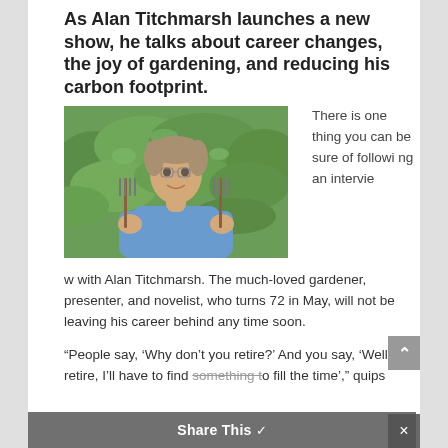As Alan Titchmarsh launches a new show, he talks about career changes, the joy of gardening, and reducing his carbon footprint.
[Figure (photo): Alan Titchmarsh smiling, holding two garden forks, standing in front of a green leafy hedge, wearing a blue shirt.]
There is one thing you can be sure of following an interview with Alan Titchmarsh. The much-loved gardener, presenter, and novelist, who turns 72 in May, will not be leaving his career behind any time soon.
“People say, ‘Why don’t you retire?’ And you say, ‘Well, if I retire, I’ll have to find something to fill the time’,” quips